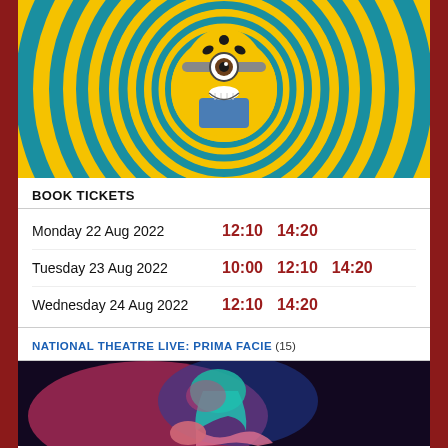[Figure (photo): Minion character on psychedelic spiral background in yellow and blue]
BOOK TICKETS
| Date | Showtimes |
| --- | --- |
| Monday 22 Aug 2022 | 12:10  14:20 |
| Tuesday 23 Aug 2022 | 10:00  12:10  14:20 |
| Wednesday 24 Aug 2022 | 12:10  14:20 |
NATIONAL THEATRE LIVE: PRIMA FACIE (15)
[Figure (photo): Person with teal/blue hair in dramatic red and blue lighting, bent forward]